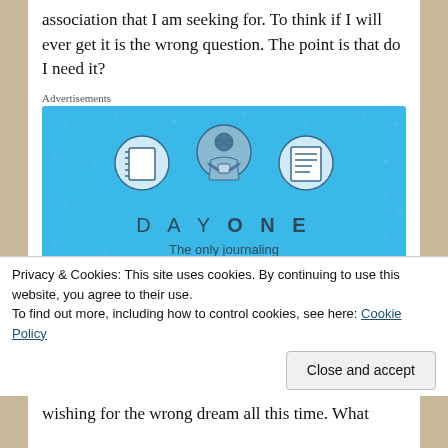association that I am seeking for. To think if I will ever get it is the wrong question. The point is that do I need it?
Advertisements
[Figure (illustration): Day One journaling app advertisement. Blue background with decorative plus/star pattern. Three circular icons at top showing a notebook, a person using phone, and a lined notepad. Text reads: DAY ONE. The only journaling app you'll ever need. Get the app button.]
Privacy & Cookies: This site uses cookies. By continuing to use this website, you agree to their use.
To find out more, including how to control cookies, see here: Cookie Policy
Close and accept
wishing for the wrong dream all this time. What